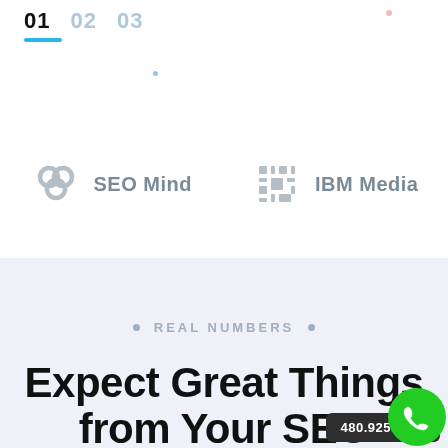01  02  03
[Figure (logo): SEO Mind logo - hexagonal chain icon in grey with text 'SEO Mind']
[Figure (logo): IBM Media logo - circuit board style icon in grey with text 'IBM Media']
REAL NUMBERS
Expect Great Things from Your SEO
480.925.3610